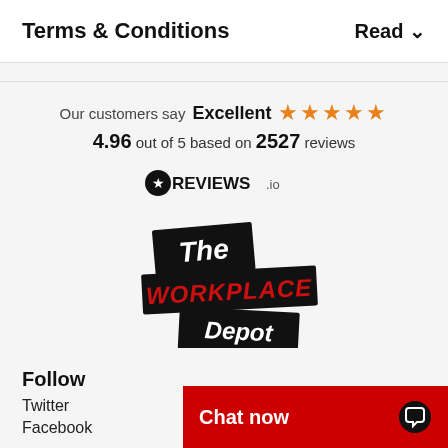Terms & Conditions
Read ∨
Our customers say Excellent ★★★★★ 4.96 out of 5 based on 2527 reviews
[Figure (logo): REVIEWS.io logo with star icon]
[Figure (logo): The Workplace Depot logo — black banner with 'The', red banner with 'WORKPLACE', black banner with 'Depot']
Follow
Twitter
Facebook
Chat now